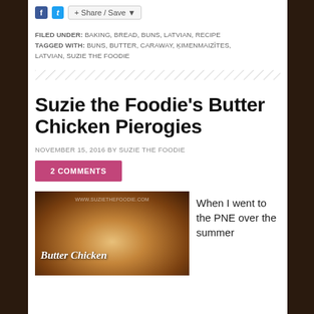Share / Save
FILED UNDER: BAKING, BREAD, BUNS, LATVIAN, RECIPE
TAGGED WITH: BUNS, BUTTER, CARAWAY, ĶIMENMAIZĪTES, LATVIAN, SUZIE THE FOODIE
Suzie the Foodie's Butter Chicken Pierogies
NOVEMBER 15, 2016 BY SUZIE THE FOODIE
2 COMMENTS
[Figure (photo): Food photo of Butter Chicken Pierogies with script text overlay reading 'Butter Chicken' and watermark www.suziethefoodie.com]
When I went to the PNE over the summer